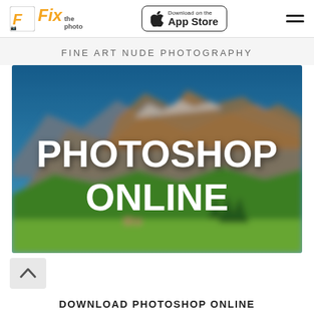Fix the photo — Download on the App Store
FINE ART NUDE PHOTOGRAPHY
[Figure (photo): A blurred mountain landscape with green meadows and rocky peaks, overlaid with bold white text reading 'PHOTOSHOP ONLINE']
DOWNLOAD PHOTOSHOP ONLINE